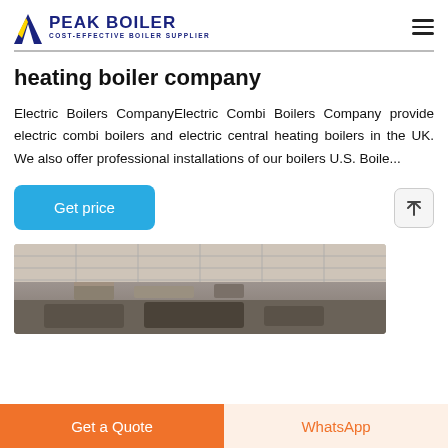PEAK BOILER — COST-EFFECTIVE BOILER SUPPLIER
heating boiler company
Electric Boilers CompanyElectric Combi Boilers Company provide electric combi boilers and electric central heating boilers in the UK. We also offer professional installations of our boilers U.S. Boile...
[Figure (photo): Interior photo of a boiler room showing industrial ductwork and piping on ceiling]
Get a Quote | WhatsApp